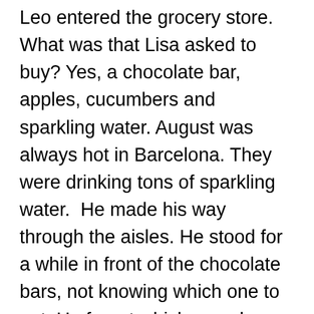Leo entered the grocery store. What was that Lisa asked to buy? Yes, a chocolate bar, apples, cucumbers and sparkling water. August was always hot in Barcelona. They were drinking tons of sparkling water.  He made his way through the aisles. He stood for a while in front of the chocolate bars, not knowing which one to get. He forgot which one she asked for this time. He called Lisa. He took three of the ones she wanted. “Enough for the weekend,” he thought. Then he also picked one of his favorites. Dark chocolate with orange pieces. He looked at it for a while. Put it in his basket. Then took it out, looked at it again and ended placing it carefully back on the shelf. “I should keep myself in shape. I must look good,” he thought to himself.  Some other thoughts were crawling in his mind too, but he stopped himself and instead remembered that on the phone he promised Lisa to tell her something exciting once he gets back home. And the childish happiness of